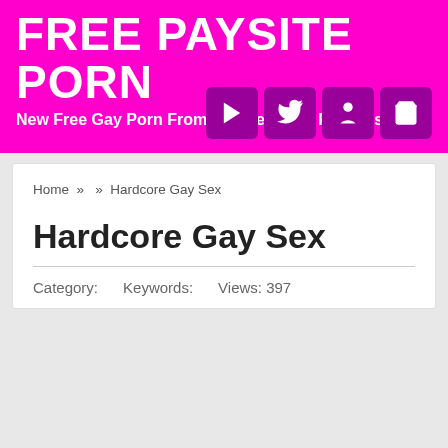FREE PAYSITE PORN
New Free Gay Porn From The Best Gay Paysites
Home » » Hardcore Gay Sex
Hardcore Gay Sex
Category:    Keywords:    Views: 397